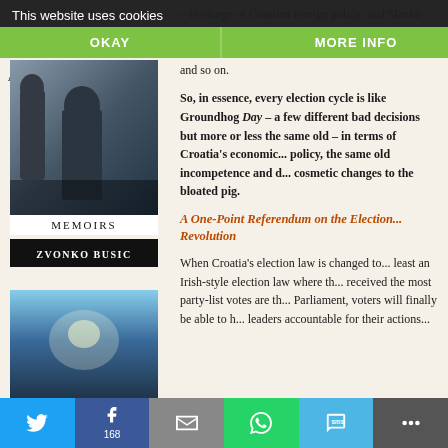This website uses cookies
OKAY
MORE INFO
[Figure (photo): Book cover: Memoirs by Zvonko Busic]
MEMOIRS
ZVONKO BUSIC
ALL VISIBLE
– in charge of Croatian foreign policy; and Slavko Linic (minister of finance), whose policies... htful place as a... spring and sh... Central Europe's future, and so on.
So, in essence, every election cycle is like Groundhog Day – a few different bad decisions but more or less the same old – in terms of Croatia's economic... policy, the same old incompetence and d... cosmetic changes to the bloated pig.
A One-Point Referendum on the Election... Revolution
When Croatia's election law is changed to... least an Irish-style election law where th... received the most party-list votes are th... Parliament, voters will finally be able to h... leaders accountable for their actions...
[Figure (photo): Book cover: In the Eye of the Storm]
Twitter | Facebook 168 | Email | WhatsApp | SMS | More